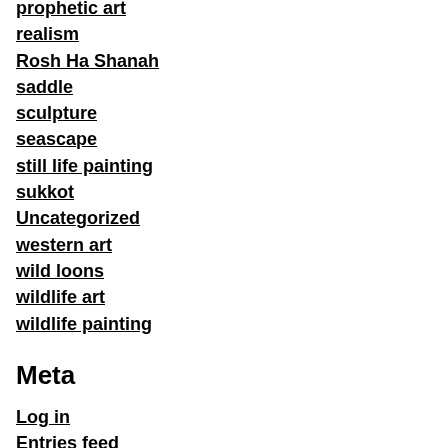prophetic art
realism
Rosh Ha Shanah
saddle
sculpture
seascape
still life painting
sukkot
Uncategorized
western art
wild loons
wildlife art
wildlife painting
Meta
Log in
Entries feed